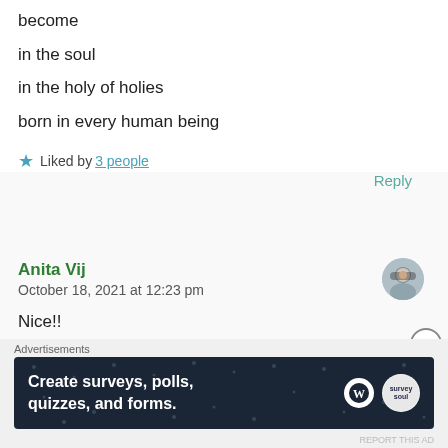become
in the soul
in the holy of holies
born in every human being
★ Liked by 3 people
Reply
Anita Vij
October 18, 2021 at 12:23 pm
Nice!!
Advertisements
[Figure (other): Advertisement banner: dark navy background with stars pattern. Text reads 'Create surveys, polls, quizzes, and forms.' WordPress logo and a circular Survey Soul logo on the right.]